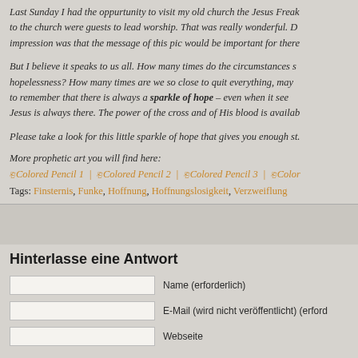Last Sunday I had the oppurtunity to visit my old church the Jesus Freak to the church were guests to lead worship. That was really wonderful. D impression was that the message of this pic would be important for there
But I believe it speaks to us all. How many times do the circumstances s hopelessness? How many times are we so close to quit everything, may to remember that there is always a sparkle of hope – even when it see Jesus is always there. The power of the cross and of His blood is availab
Please take a look for this little sparkle of hope that gives you enough st.
More prophetic art you will find here:
☞ Colored Pencil 1 | ☞ Colored Pencil 2 | ☞ Colored Pencil 3 | ☞ Color
Tags: Finsternis, Funke, Hoffnung, Hoffnungslosigkeit, Verzweiflung
Hinterlasse eine Antwort
Name (erforderlich)
E-Mail (wird nicht veröffentlicht) (erford
Webseite